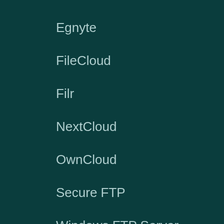Egnyte
FileCloud
Filr
NextCloud
OwnCloud
Secure FTP
Windows FTP Server
SharePoint Migration Costs
Blog